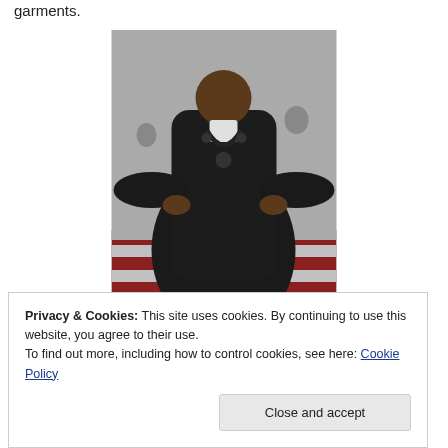garments.
[Figure (photo): A person wearing a large black flowing garment/robe with a heavy chain necklace, standing on a red carpet with other people in the background.]
Privacy & Cookies: This site uses cookies. By continuing to use this website, you agree to their use.
To find out more, including how to control cookies, see here: Cookie Policy
be friends with this man?